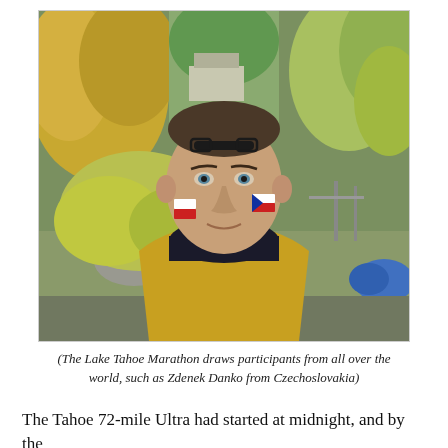[Figure (photo): Portrait photo of a man with Czech flag face paint on both cheeks, wearing a yellow jacket and dark turtleneck, with sunglasses on his forehead. Autumn trees and outdoor setting in the background.]
(The Lake Tahoe Marathon draws participants from all over the world, such as Zdenek Danko from Czechoslovakia)
The Tahoe 72-mile Ultra had started at midnight, and by the